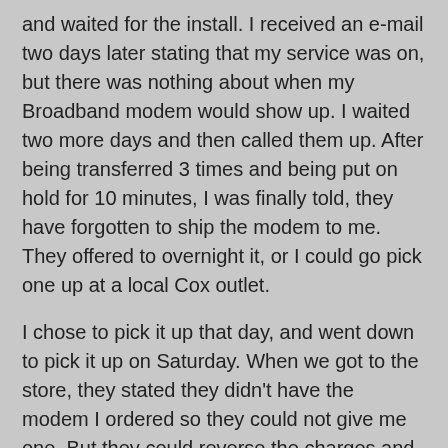and waited for the install. I received an e-mail two days later stating that my service was on, but there was nothing about when my Broadband modem would show up. I waited two more days and then called them up. After being transferred 3 times and being put on hold for 10 minutes, I was finally told, they have forgotten to ship the modem to me. They offered to overnight it, or I could go pick one up at a local Cox outlet.
I chose to pick it up that day, and went down to pick it up on Saturday. When we got to the store, they stated they didn't have the modem I ordered so they could not give me one. But they could reverse the charges and sell me a different one, which I opted for.
We got the modem home and I hooked it up (which I have done countless times before) and there was no connectivity. Being suspicious, I went outside to check the cable box on the side of the house. Sure enough, while the service was 'on', they had neglected to actually 'connect the coax cable to the house, which I had to do as well. After a delay of 4 days, and about 4 hours of my time (which I won't get reimbursed for), we now have Boardband back in the house